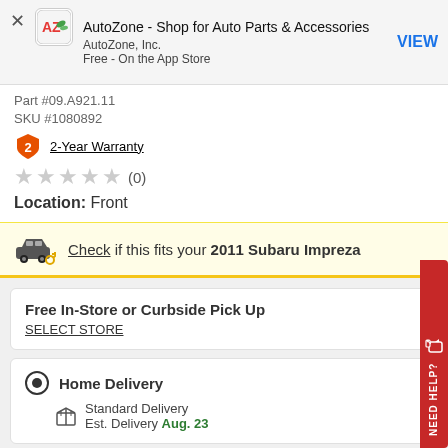[Figure (screenshot): AutoZone app banner with AZ logo icon, app title 'AutoZone - Shop for Auto Parts & Accessories', developer 'AutoZone, Inc.', price 'Free - On the App Store', and a VIEW button]
Part #09.A921.11
SKU #1080892
2-Year Warranty
(0)
Location: Front
Check if this fits your 2011 Subaru Impreza
Free In-Store or Curbside Pick Up
SELECT STORE
Home Delivery
Standard Delivery
Est. Delivery Aug. 23